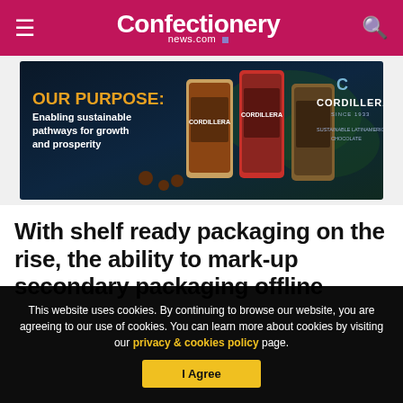Confectionery news.com
[Figure (photo): Cordillera chocolate advertisement banner: 'OUR PURPOSE: Enabling sustainable pathways for growth and prosperity' with product bags and brand logo]
With shelf ready packaging on the rise, the ability to mark-up secondary packaging offline
This website uses cookies. By continuing to browse our website, you are agreeing to our use of cookies. You can learn more about cookies by visiting our privacy & cookies policy page.
I Agree